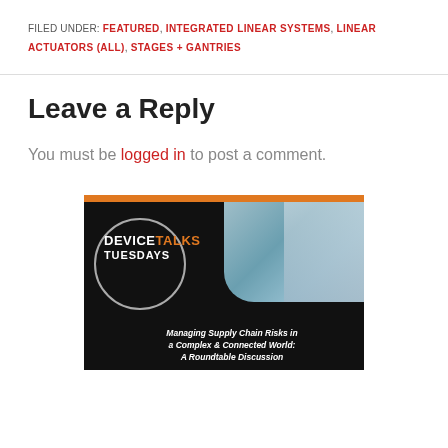FILED UNDER: FEATURED, INTEGRATED LINEAR SYSTEMS, LINEAR ACTUATORS (ALL), STAGES + GANTRIES
Leave a Reply
You must be logged in to post a comment.
[Figure (illustration): DeviceTalks Tuesdays banner advertisement with orange top bar, black background with circle logo showing DEVICE TALKS TUESDAYS text, globe/doctor imagery, and text: Managing Supply Chain Risks in a Complex & Connected World: A Roundtable Discussion]